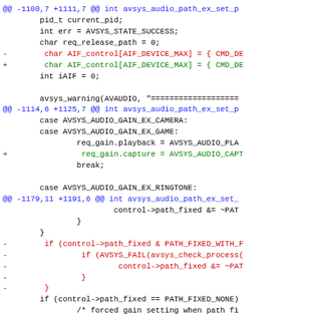[Figure (screenshot): A unified diff / code patch view showing changes to a C source file with lines in blue (context/hunk headers), green (added lines), and red (removed lines), displayed as a code diff in monospace font.]